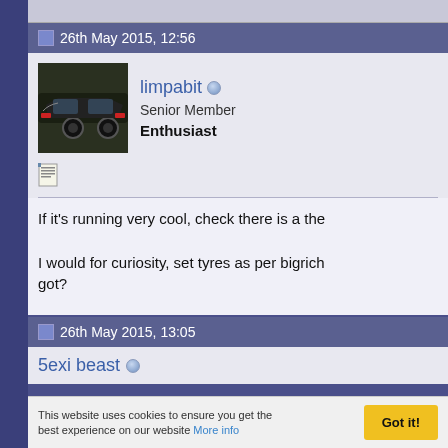26th May 2015, 12:56
limpabit
Senior Member
Enthusiast
If it's running very cool, check there is a the
I would for curiosity, set tyres as per bigrich got?
26th May 2015, 13:05
5exi beast
This website uses cookies to ensure you get the best experience on our website More info
Got it!